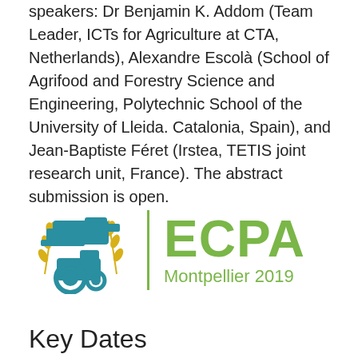speakers: Dr Benjamin K. Addom (Team Leader, ICTs for Agriculture at CTA, Netherlands), Alexandre Escolà (School of Agrifood and Forestry Science and Engineering, Polytechnic School of the University of Lleida. Catalonia, Spain), and Jean-Baptiste Féret (Irstea, TETIS joint research unit, France). The abstract submission is open.
[Figure (logo): ECPA Montpellier 2019 logo with teal agricultural icon (tractor and wheat) on the left, a green vertical divider, and green text reading ECPA and Montpellier 2019]
Key Dates